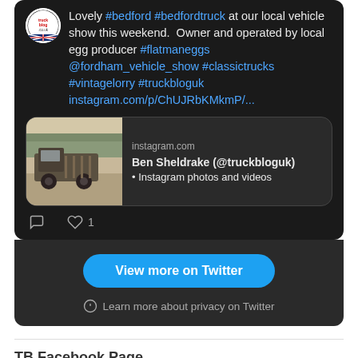Lovely #bedford #bedfordtruck at our local vehicle show this weekend. Owner and operated by local egg producer #flatmaneggs @fordham_vehicle_show #classictrucks #vintagelorry #truckbloguk instagram.com/p/ChUJRbKMkmP/...
[Figure (screenshot): Instagram link preview showing a vintage Bedford truck (black and white photo) with text: instagram.com / Ben Sheldrake (@truckbloguk) • Instagram photos and videos]
View more on Twitter
Learn more about privacy on Twitter
TB Facebook Page